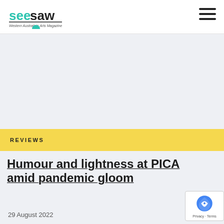seesaw — Western Australia's Arts Magazine
REVIEWS
Humour and lightness at PICA amid pandemic gloom
29 August 2022